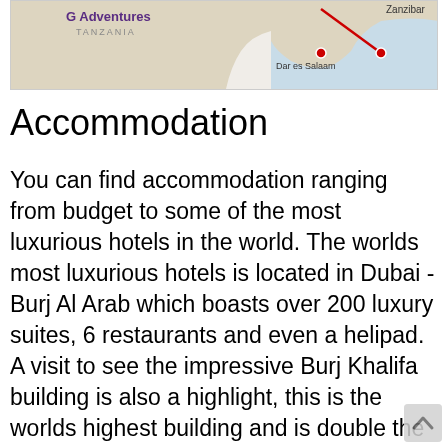[Figure (map): A partial map showing Tanzania region with G Adventures logo, locations including Zanzibar and Dar es Salaam marked, with route lines.]
Accommodation
You can find accommodation ranging from budget to some of the most luxurious hotels in the world. The worlds most luxurious hotels is located in Dubai - Burj Al Arab which boasts over 200 luxury suites, 6 restaurants and even a helipad. A visit to see the impressive Burj Khalifa building is also a highlight, this is the worlds highest building and is double the size of the Empire State Building in New York. We also recommend a visit to the Dubai Mall which is the largest and most visited shopping